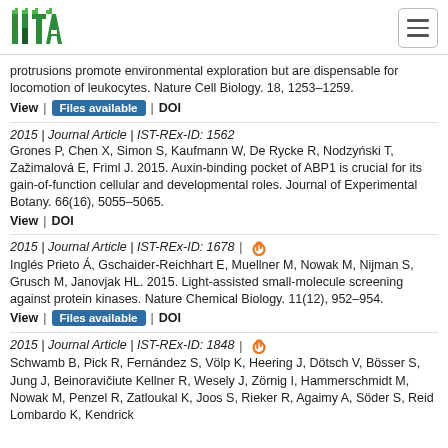ISTA
protrusions promote environmental exploration but are dispensable for locomotion of leukocytes. Nature Cell Biology. 18, 1253–1259.
View | Files available | DOI
2015 | Journal Article | IST-REx-ID: 1562
Grones P, Chen X, Simon S, Kaufmann W, De Rycke R, Nodzyński T, Zažimalová E, Friml J. 2015. Auxin-binding pocket of ABP1 is crucial for its gain-of-function cellular and developmental roles. Journal of Experimental Botany. 66(16), 5055–5065.
View | DOI
2015 | Journal Article | IST-REx-ID: 1678 | [open access]
Inglés Prieto Á, Gschaider-Reichhart E, Muellner M, Nowak M, Nijman S, Grusch M, Janovjak HL. 2015. Light-assisted small-molecule screening against protein kinases. Nature Chemical Biology. 11(12), 952–954.
View | Files available | DOI
2015 | Journal Article | IST-REx-ID: 1848 | [open access]
Schwamb B, Pick R, Fernández S, Völp K, Heering J, Dötsch V, Bösser S, Jung J, Beinoravičiute Kellner R, Wesely J, Zörnig I, Hammerschmidt M, Nowak M, Penzel R, Zatloukal K, Joos S, Rieker R, Agaimy A, Söder S, Reid Lombardo K, Kendrick...